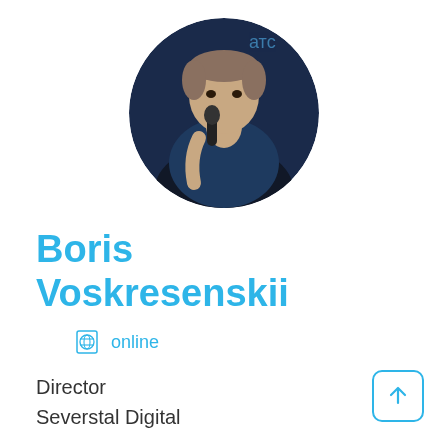[Figure (photo): Circular profile photo of Boris Voskresenskii, a man holding a microphone against a dark blue background]
Boris Voskresenskii
online
Director
Severstal Digital